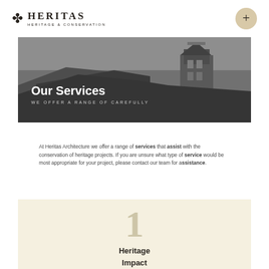[Figure (logo): Heritas Heritage & Conservation logo with fleur-de-lis symbol, company name in serif capitals, and tagline 'HERITAGE & CONSERVATION']
[Figure (photo): Black and white photograph of a heritage building roofline with a tower/cupola against a grey sky]
Our Services
WE OFFER A RANGE OF CAREFULLY...
At Heritas Architecture we offer a range of services that assist with the conservation of heritage projects. If you are unsure what type of service would be most appropriate for your project, please contact our team for assistance.
1
Heritage Impact Statements
Document required by local councils to accompany a development application.